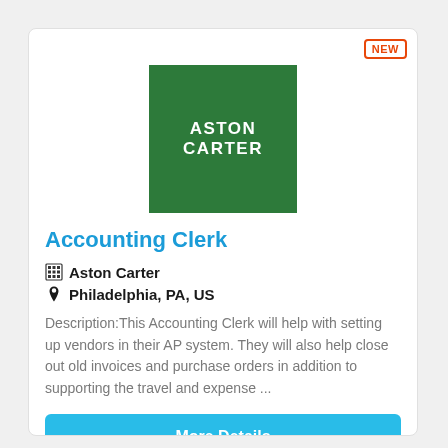[Figure (logo): Aston Carter company logo — dark green square with white bold text reading ASTON CARTER]
Accounting Clerk
Aston Carter
Philadelphia, PA, US
Description:This Accounting Clerk will help with setting up vendors in their AP system. They will also help close out old invoices and purchase orders in addition to supporting the travel and expense ...
More Details